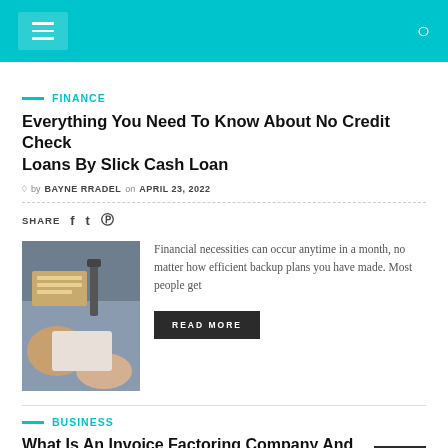Navigation header with hamburger menu and search icon
FINANCE
Everything You Need To Know About No Credit Check Loans By Slick Cash Loan
by BAYNE RRADEL on APRIL 23, 2022
SHARE
[Figure (photo): Photo of hands exchanging cash money with a pen and documents on a desk]
Financial necessities can occur anytime in a month, no matter how efficient backup plans you have made. Most people get
READ MORE
BUSINESS
What Is An Invoice Factoring Company And How You Choose The Best?